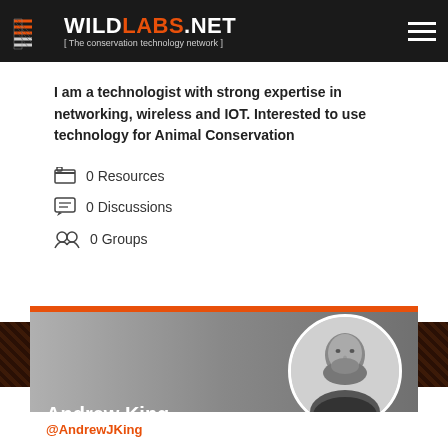WILDLABS.NET [ The conservation technology network ]
I am a technologist with strong expertise in networking, wireless and IOT. Interested to use technology for Animal Conservation
0 Resources
0 Discussions
0 Groups
[Figure (photo): Profile photo of Andrew King, a man with a beard, shown in black and white in a circular frame]
Andrew King
@AndrewJKing